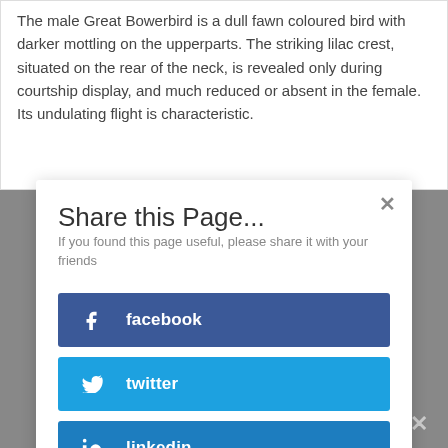The male Great Bowerbird is a dull fawn coloured bird with darker mottling on the upperparts. The striking lilac crest, situated on the rear of the neck, is revealed only during courtship display, and much reduced or absent in the female.  Its undulating flight is characteristic.
Share this Page...
If you found this page useful, please share it with your friends
[Figure (infographic): Three social share buttons: facebook (dark blue), twitter (light blue), linkedin (medium blue), each with icon and label]